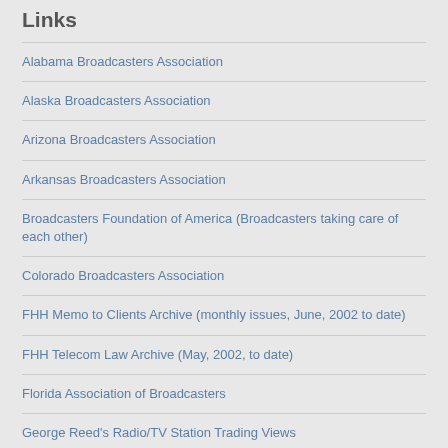Links
Alabama Broadcasters Association
Alaska Broadcasters Association
Arizona Broadcasters Association
Arkansas Broadcasters Association
Broadcasters Foundation of America (Broadcasters taking care of each other)
Colorado Broadcasters Association
FHH Memo to Clients Archive (monthly issues, June, 2002 to date)
FHH Telecom Law Archive (May, 2002, to date)
Florida Association of Broadcasters
George Reed's Radio/TV Station Trading Views
Hawaii Association of Broadcasters
Hispanic Market Weekly